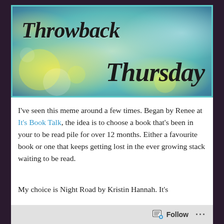[Figure (illustration): Throwback Thursday banner image with colorful bokeh background (teal, yellow, green gradient) and decorative text 'Throwback Thursday' in bold italic black font, framed with a teal border.]
I've seen this meme around a few times. Began by Renee at It's Book Talk, the idea is to choose a book that's been in your to be read pile for over 12 months. Either a favourite book or one that keeps getting lost in the ever growing stack waiting to be read.
My choice is Night Road by Kristin Hannah. It's